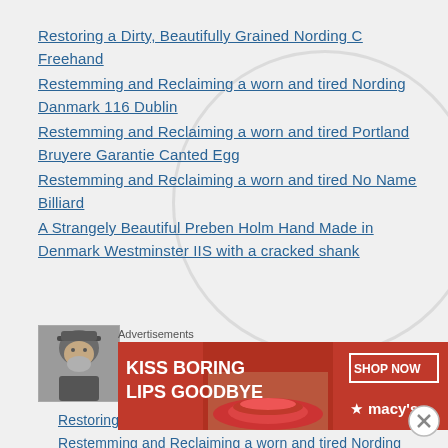Restoring a Dirty, Beautifully Grained Nording C Freehand
Restemming and Reclaiming a worn and tired Nording Danmark 116 Dublin
Restemming and Reclaiming a worn and tired Portland Bruyere Garantie Canted Egg
Restemming and Reclaiming a worn and tired No Name Billiard
A Strangely Beautiful Preben Holm Hand Made in Denmark Westminster IIS with a cracked shank
[Figure (photo): Small avatar photo of an elderly bearded man wearing a cap, black and white or sepia tone]
rebornpipes
Restoring a Dirty, Beautifully Grained Nording C Freehand
Restemming and Reclaiming a worn and tired Nording Danmark
Advertisements
[Figure (screenshot): Advertisement banner: KISS BORING LIPS GOODBYE with a photo of a woman's lips, SHOP NOW button, and Macy's star logo on red background]